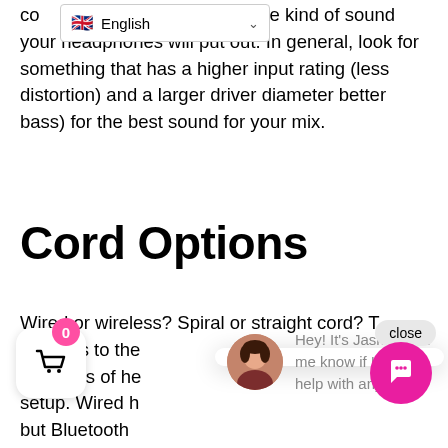English (language selector)
co...mining the kind of sound your headphones will put out. In general, look for something that has a higher input rating (less distortion) and a larger driver diameter better bass) for the best sound for your mix.
Cord Options
Wired or wireless? Spiral or straight cord? T... answers to the... the types of he... setup. Wired h... but Bluetooth... more common... in crowded venues. Bluetooth has its downsides, ...gh, such as the headphones needing to... ...arged. If you play long sets, wireless headphones may not be your best option. Coiled
[Figure (screenshot): Chat popup from Jasmin with avatar photo and message: Hey! It's Jasmin. Let me know if I can help with anything. Close button visible.]
[Figure (illustration): Shopping cart icon button with badge showing 0]
[Figure (illustration): Pink chat bubble button in bottom right corner]